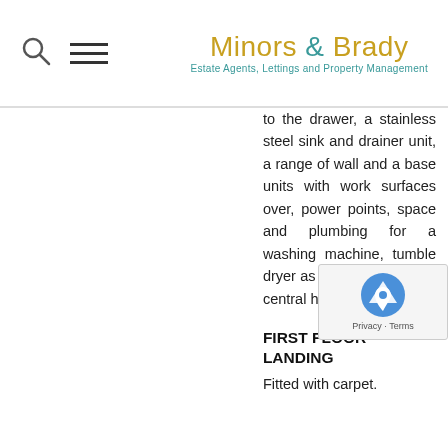Minors & Brady — Estate Agents, Lettings and Property Management
to the drawer, a stainless steel sink and drainer unit, a range of wall and a base units with work surfaces over, power points, space and plumbing for a washing machine, tumble dryer as well as an oil fired central heating boiler.
FIRST FLOOR LANDING
Fitted with carpet.